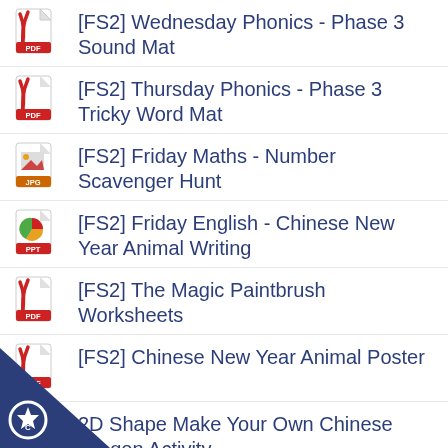[FS2] Wednesday Phonics - Phase 3 Sound Mat
[FS2] Thursday Phonics - Phase 3 Tricky Word Mat
[FS2] Friday Maths - Number Scavenger Hunt
[FS2] Friday English - Chinese New Year Animal Writing
[FS2] The Magic Paintbrush Worksheets
[FS2] Chinese New Year Animal Poster
2D Shape Make Your Own Chinese Dragon Activity
Chinese Dragon Number Ordering to 20